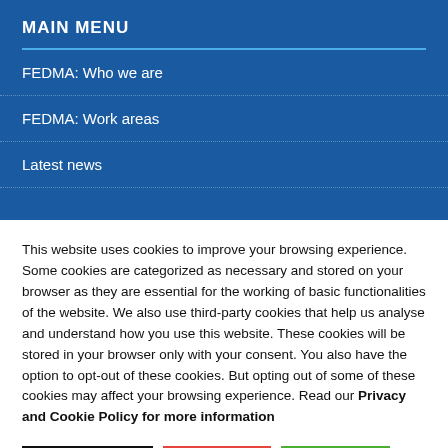MAIN MENU
FEDMA: Who we are
FEDMA: Work areas
Latest news
This website uses cookies to improve your browsing experience. Some cookies are categorized as necessary and stored on your browser as they are essential for the working of basic functionalities of the website. We also use third-party cookies that help us analyse and understand how you use this website. These cookies will be stored in your browser only with your consent. You also have the option to opt-out of these cookies. But opting out of some of these cookies may affect your browsing experience. Read our Privacy and Cookie Policy for more information
Cookie settings
REJECT
ACCEPT